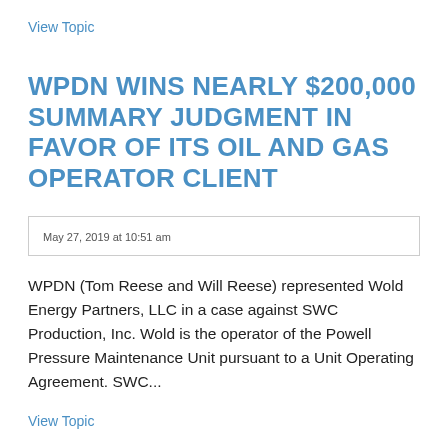View Topic
WPDN WINS NEARLY $200,000 SUMMARY JUDGMENT IN FAVOR OF ITS OIL AND GAS OPERATOR CLIENT
May 27, 2019 at 10:51 am
WPDN (Tom Reese and Will Reese) represented Wold Energy Partners, LLC in a case against SWC Production, Inc. Wold is the operator of the Powell Pressure Maintenance Unit pursuant to a Unit Operating Agreement. SWC...
View Topic